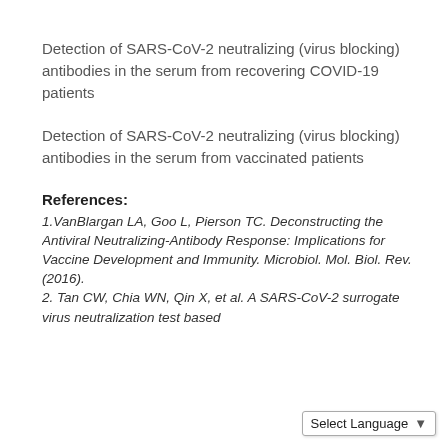Detection of SARS-CoV-2 neutralizing (virus blocking) antibodies in the serum from recovering COVID-19 patients
Detection of SARS-CoV-2 neutralizing (virus blocking) antibodies in the serum from vaccinated patients
References:
1.VanBlargan LA, Goo L, Pierson TC. Deconstructing the Antiviral Neutralizing-Antibody Response: Implications for Vaccine Development and Immunity. Microbiol. Mol. Biol. Rev. (2016).
2. Tan CW, Chia WN, Qin X, et al. A SARS-CoV-2 surrogate virus neutralization test based